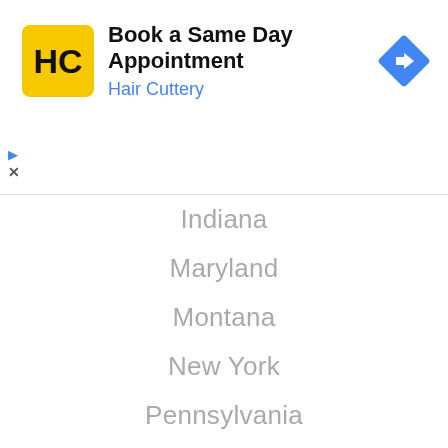[Figure (screenshot): Advertisement banner for Hair Cuttery showing logo, 'Book a Same Day Appointment' title, 'Hair Cuttery' subtitle in blue, and a blue navigation diamond icon on the right. Play and close controls at bottom left.]
Indiana
Maryland
Montana
New York
Pennsylvania
Utah
Wyoming
United States
Arizona
Florida (partial)